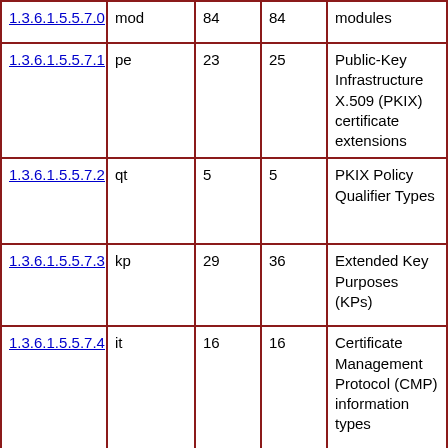| 1.3.6.1.5.5.7.0 | mod | 84 | 84 | modules |
| 1.3.6.1.5.5.7.1 | pe | 23 | 25 | Public-Key Infrastructure X.509 (PKIX) certificate extensions |
| 1.3.6.1.5.5.7.2 | qt | 5 | 5 | PKIX Policy Qualifier Types |
| 1.3.6.1.5.5.7.3 | kp | 29 | 36 | Extended Key Purposes (KPs) |
| 1.3.6.1.5.5.7.4 | it | 16 | 16 | Certificate Management Protocol (CMP) information types |
| 1.3.6.1.5.5.7.5 | pkip | 3 | 15 | Certificate Request Message Format (CRMF) controls |